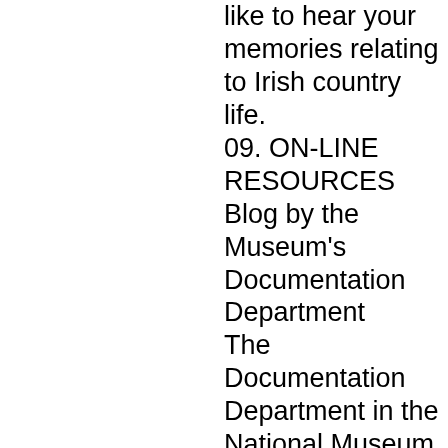like to hear your memories relating to Irish country life.
09. ON-LINE RESOURCES
Blog by the Museum's Documentation Department
The Documentation Department in the National Museum of Ireland - Country Life have launched a blog as a spin-off from the Museum's Inventory Project. http://turloughparkhouse.wordpress. Visit this blog to get some information on objects in the Museum's collection.
Website for local heritage www.ouririshheritage.org features articles on local history and heritage from around the country. Anyone with an interest in their local area can contribute to this website which, it is hoped, will eventually reflect the local history of the island of Ireland. Groups and organisations are welcome to promote their cultural and heritage events via the online events form.
10. MUSEUM OPENING TIMES
Museum: Tuesday-Saturday: 10am